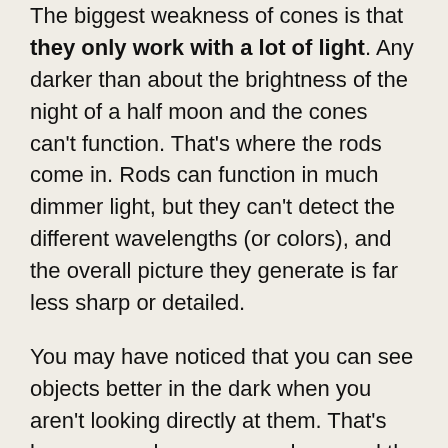The biggest weakness of cones is that they only work with a lot of light. Any darker than about the brightness of the night of a half moon and the cones can't function. That's where the rods come in. Rods can function in much dimmer light, but they can't detect the different wavelengths (or colors), and the overall picture they generate is far less sharp or detailed.
You may have noticed that you can see objects better in the dark when you aren't looking directly at them. That's because we have more rods around the edges of our retinas, while the center (the macula) is densely packed with cones.
The Animals With The Best Night Vision
Which animals would you think have the best night vision in the animal kingdom? Owls? Cats? While both do have exceptionally good night vision, the answer